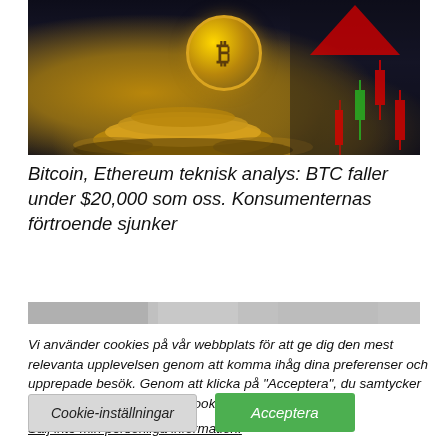[Figure (photo): Photo of gold Bitcoin coins stacked on a dark background with a red downward candlestick chart overlay on the right side]
Bitcoin, Ethereum teknisk analys: BTC faller under $20,000 som oss. Konsumenternas förtroende sjunker
[Figure (photo): Partial second article image strip, cropped]
Vi använder cookies på vår webbplats för att ge dig den mest relevanta upplevelsen genom att komma ihåg dina preferenser och upprepade besök. Genom att klicka på "Acceptera", du samtycker till användningen av ALLA cookies.
Sälj inte min personliga information.